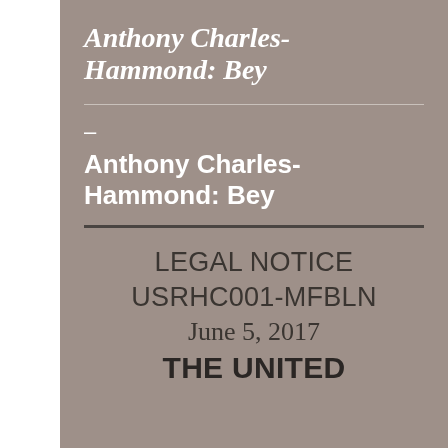Anthony Charles-Hammond: Bey
–
Anthony Charles-Hammond: Bey
LEGAL NOTICE
USRHC001-MFBLN
June 5, 2017
THE UNITED